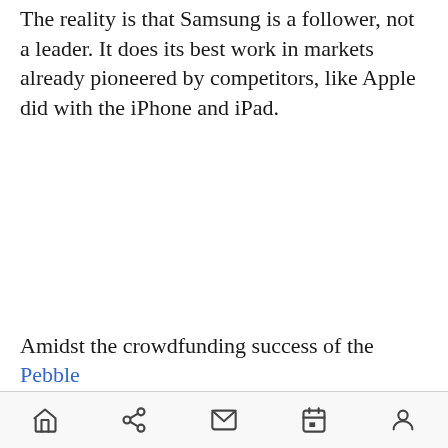The reality is that Samsung is a follower, not a leader. It does its best work in markets already pioneered by competitors, like Apple did with the iPhone and iPad.
Amidst the crowdfunding success of the Pebble
[navigation bar: home, share, mail, calendar, profile]